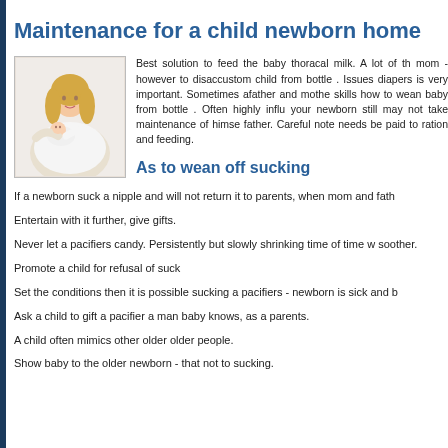Maintenance for a child newborn home
[Figure (photo): A mother in white clothing holding and nursing a newborn baby]
Best solution to feed the baby thoracal milk. A lot of th mom - however to disaccustom child from bottle . Issues diapers is very important. Sometimes afather and mothe skills how to wean baby from bottle . Often highly influ your newborn still may not take maintenance of himse father. Careful note needs be paid to ration and feeding.
As to wean off sucking
If a newborn suck a nipple and will not return it to parents, when mom and fath
Entertain with it further, give gifts.
Never let a pacifiers candy. Persistently but slowly shrinking time of time w soother.
Promote a child for refusal of suck
Set the conditions then it is possible sucking a pacifiers - newborn is sick and b
Ask a child to gift a pacifier a man baby knows, as a parents.
A child often mimics other older older people.
Show baby to the older newborn - that not to sucking.